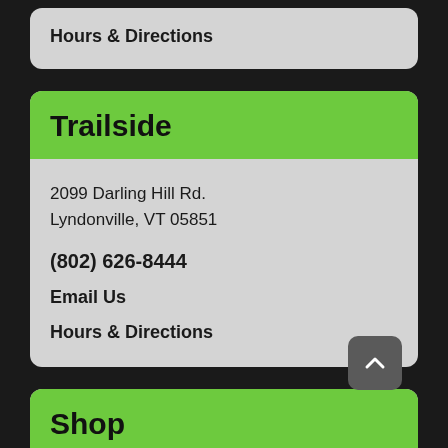Hours & Directions
Trailside
2099 Darling Hill Rd.
Lyndonville, VT 05851
(802) 626-8444
Email Us
Hours & Directions
Shop
Bikes